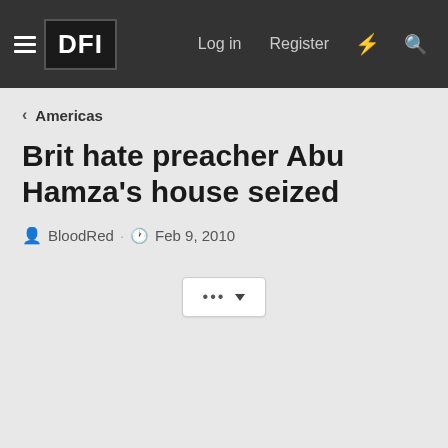DFI — Log in  Register
< Americas
Brit hate preacher Abu Hamza's house seized
BloodRed · Feb 9, 2010